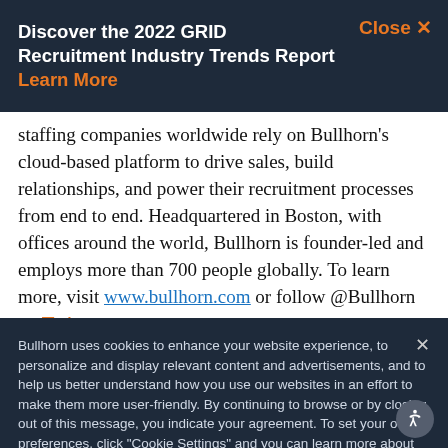Discover the 2022 GRID Recruitment Industry Trends Report Learn More  Close ×
staffing companies worldwide rely on Bullhorn's cloud-based platform to drive sales, build relationships, and power their recruitment processes from end to end. Headquartered in Boston, with offices around the world, Bullhorn is founder-led and employs more than 700 people globally. To learn more, visit www.bullhorn.com or follow @Bullhorn on Twitter
Bullhorn uses cookies to enhance your website experience, to personalize and display relevant content and advertisements, and to help us better understand how you use our websites in an effort to make them more user-friendly. By continuing to browse or by closing out of this message, you indicate your agreement. To set your own preferences, click "Cookie Settings" and you can learn more about the cookies we use by reviewing our cookie policy.